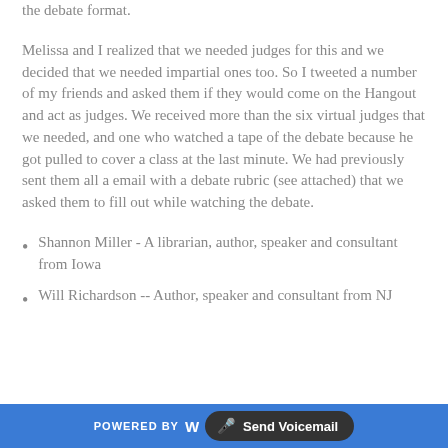the debate format.
Melissa and I realized that we needed judges for this and we decided that we needed impartial ones too. So I tweeted a number of my friends and asked them if they would come on the Hangout and act as judges. We received more than the six virtual judges that we needed, and one who watched a tape of the debate because he got pulled to cover a class at the last minute. We had previously sent them all a email with a debate rubric (see attached) that we asked them to fill out while watching the debate.
Shannon Miller - A librarian, author, speaker and consultant from Iowa
Will Richardson -- Author, speaker and consultant from NJ
POWERED BY W  🎤 Send Voicemail